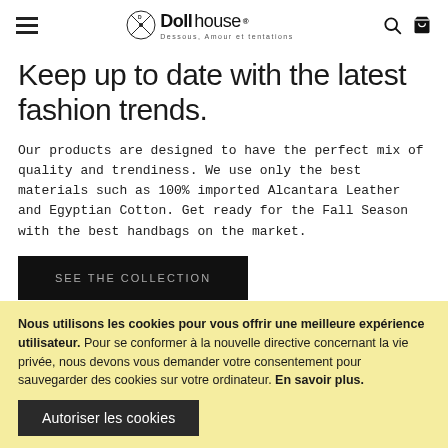Dollhouse — Dessous, Amour et tentations
Keep up to date with the latest fashion trends.
Our products are designed to have the perfect mix of quality and trendiness. We use only the best materials such as 100% imported Alcantara Leather and Egyptian Cotton. Get ready for the Fall Season with the best handbags on the market.
SEE THE COLLECTION
Nous utilisons les cookies pour vous offrir une meilleure expérience utilisateur. Pour se conformer à la nouvelle directive concernant la vie privée, nous devons vous demander votre consentement pour sauvegarder des cookies sur votre ordinateur. En savoir plus.
Autoriser les cookies